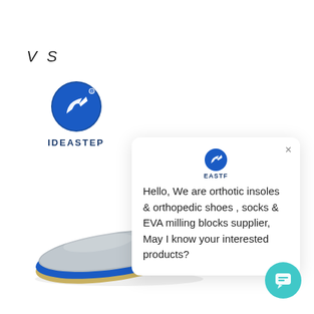V S
[Figure (logo): IDEASTEP logo — blue oval with white arrow/shoe icon, text IDEASTEP below with registered trademark symbol]
[Figure (photo): Orthotic insole viewed from side and top — grey fabric top surface with blue edge, oval shape, partial view]
[Figure (screenshot): Chat popup widget showing small IDEASTEP logo and brand name, close X button, message: Hello, We are orthotic insoles & orthopedic shoes , socks & EVA milling blocks supplier, May I know your interested products?]
[Figure (illustration): Teal/cyan circular chat button with speech bubble icon in bottom right corner]